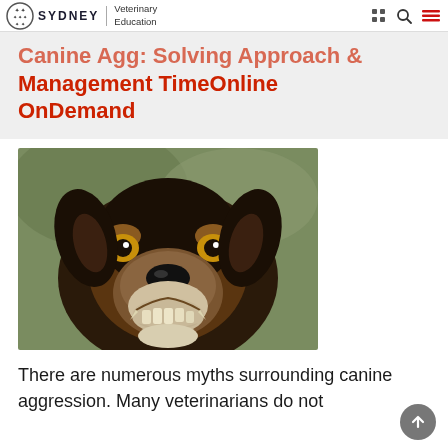SYDNEY | Veterinary Education
Canine Agg: Solving Approach & Management TimeOnline OnDemand
[Figure (photo): Close-up photo of a dog snarling and showing its teeth, dark brown and tan fur, with a blurred green background]
There are numerous myths surrounding canine aggression. Many veterinarians do not